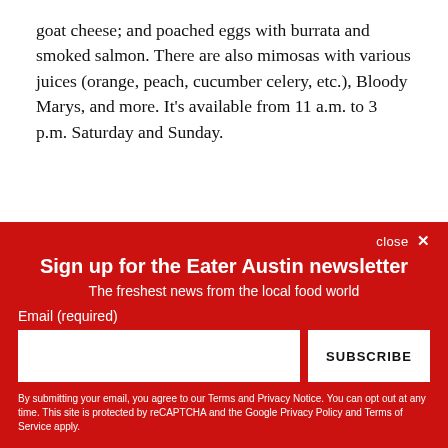goat cheese; and poached eggs with burrata and smoked salmon. There are also mimosas with various juices (orange, peach, cucumber celery, etc.), Bloody Marys, and more. It’s available from 11 a.m. to 3 p.m. Saturday and Sunday.
Sign up for the Eater Austin newsletter
The freshest news from the local food world
Email (required)
SUBSCRIBE
By submitting your email, you agree to our Terms and Privacy Notice. You can opt out at any time. This site is protected by reCAPTCHA and the Google Privacy Policy and Terms of Service apply.